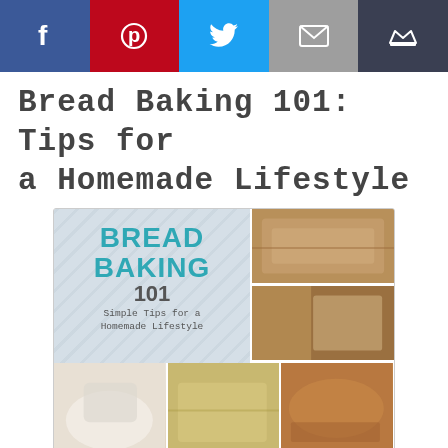Social share bar: Facebook, Pinterest, Twitter, Email, Crown
Bread Baking 101: Tips for a Homemade Lifestyle
[Figure (photo): Book cover collage for 'Bread Baking 101 – Simple Tips for a Homemade Lifestyle' showing text on chevron background alongside multiple food/bread photos]